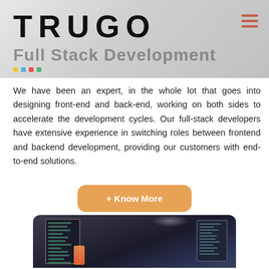TRUGO
Full Stack Development
We have been an expert, in the whole lot that goes into designing front-end and back-end, working on both sides to accelerate the development cycles. Our full-stack developers have extensive experience in switching roles between frontend and backend development, providing our customers with end-to-end solutions.
+ Know More
[Figure (photo): Computer monitors showing code/development screens on a desk, representing full stack development environment]